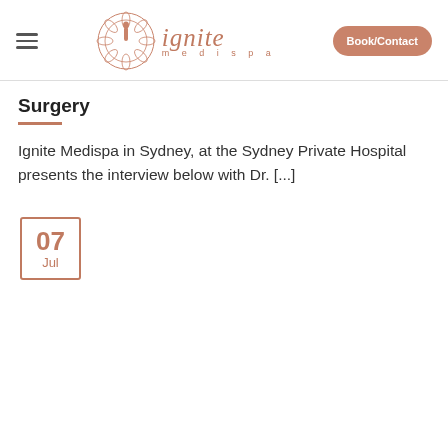Ignite Medispa — navigation bar with hamburger menu, logo, and Book/Contact button
Surgery
Ignite Medispa in Sydney, at the Sydney Private Hospital presents the interview below with Dr. [...]
07 Jul